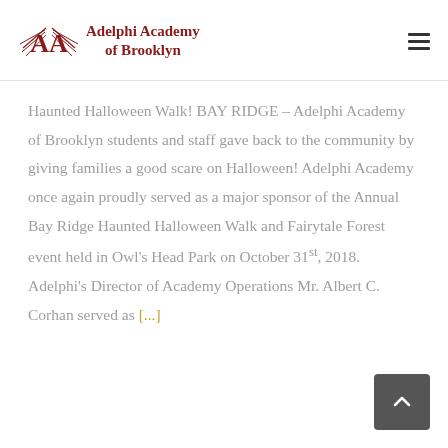Adelphi Academy of Brooklyn
Haunted Halloween Walk! BAY RIDGE – Adelphi Academy of Brooklyn students and staff gave back to the community by giving families a good scare on Halloween! Adelphi Academy once again proudly served as a major sponsor of the Annual Bay Ridge Haunted Halloween Walk and Fairytale Forest event held in Owl's Head Park on October 31st, 2018. Adelphi's Director of Academy Operations Mr. Albert C. Corhan served as [...]